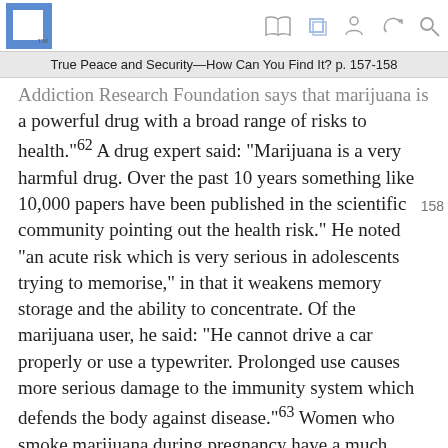True Peace and Security—How Can You Find It? p. 157-158
Addiction Research Foundation says that marijuana is a powerful drug with a broad range of risks to health.”⁶² A drug expert said: “Marijuana is a very harmful drug. Over the past 10 years something like 10,000 papers have been published in the scientific community pointing out the health risk.” He noted “an acute risk which is very serious in adolescents trying to memorise,” in that it weakens memory storage and the ability to concentrate. Of the marijuana user, he said: “He cannot drive a car properly or use a typewriter. Prolonged use causes more serious damage to the immunity system which defends the body against disease.”⁶³ Women who smoke marijuana during pregnancy have a much greater risk of having children with brain damage. In view of all of this, can it be said that using marijuana